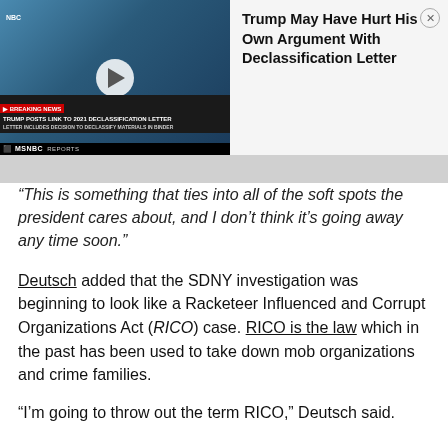[Figure (screenshot): MSNBC breaking news video thumbnail showing two news anchors, one woman and one man, with a play button overlay. Breaking news chyron reads: TRUMP POSTS LINK TO 2021 DECLASSIFICATION LETTER. LETTER INCLUDES DECISION TO DECLASSIFY MATERIALS IN BINDER.]
Trump May Have Hurt His Own Argument With Declassification Letter
“This is something that ties into all of the soft spots the president cares about, and I don’t think it’s going away any time soon.”
Deutsch added that the SDNY investigation was beginning to look like a Racketeer Influenced and Corrupt Organizations Act (RICO) case. RICO is the law which in the past has been used to take down mob organizations and crime families.
“I’m going to throw out the term RICO,” Deutsch said.